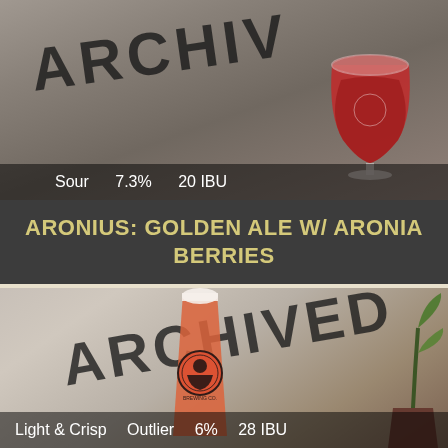[Figure (photo): Photo of a red/sour beer in a goblet glass with 'ARCHIVED' watermark text stamped diagonally across the image. Dark background.]
Sour   7.3%   20 IBU
ARONIUS: GOLDEN ALE W/ ARONIA BERRIES
[Figure (photo): Photo of a pint glass of orange-red beer with 'Dangerous Man Brewing Co' logo, 'ARCHIVED' watermark stamped diagonally, and a plant/pot visible to the right.]
Light & Crisp   Outlier   6%   28 IBU